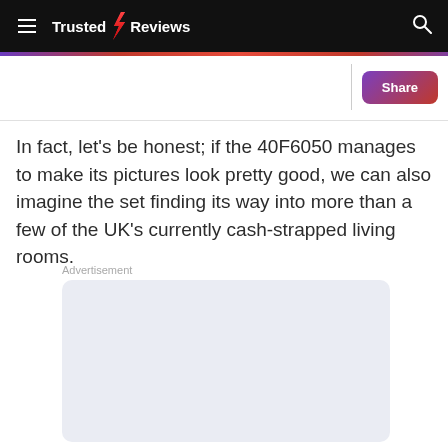Trusted Reviews
In fact, let's be honest; if the 40F6050 manages to make its pictures look pretty good, we can also imagine the set finding its way into more than a few of the UK's currently cash-strapped living rooms.
[Figure (other): Advertisement placeholder box with light blue-grey background]